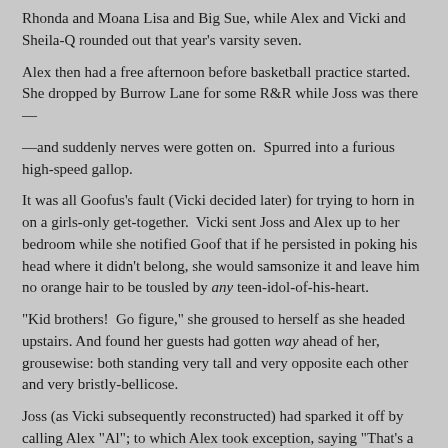Rhonda and Moana Lisa and Big Sue, while Alex and Vicki and Sheila-Q rounded out that year's varsity seven.
Alex then had a free afternoon before basketball practice started.  She dropped by Burrow Lane for some R&R while Joss was there—
—and suddenly nerves were gotten on.  Spurred into a furious high-speed gallop.
It was all Goofus's fault (Vicki decided later) for trying to horn in on a girls-only get-together.  Vicki sent Joss and Alex up to her bedroom while she notified Goof that if he persisted in poking his head where it didn't belong, she would samsonize it and leave him no orange hair to be tousled by any teen-idol-of-his-heart.
"Kid brothers!  Go figure," she groused to herself as she headed upstairs.  And found her guests had gotten way ahead of her, grousewise: both standing very tall and very opposite each other and very bristly-bellicose.
Joss (as Vicki subsequently reconstructed) had sparked it off by calling Alex "Al"; to which Alex took exception, saying "That's a boy's name!"  "What, unlike Alex?" Joss retorted, citing the heroine of Constance C. Greene's A Girl Named Al and You Know Me, Al as another short-for-Alexandra.  At which point Alex blurted that she didn't like fiction because it was "all make-believe" and therefore untrustworthy; which wounded Joss on behalf of fine artists in every medium, so she made a comment on what jockminded people didn't know they were missing: